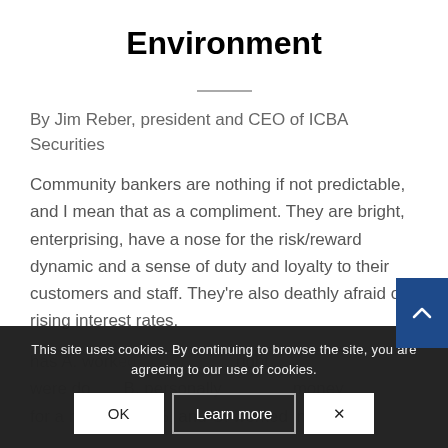Environment
By Jim Reber, president and CEO of ICBA Securities
Community bankers are nothing if not predictable, and I mean that as a compliment. They are bright, enterprising, have a nose for the risk/reward dynamic and a sense of duty and loyalty to their customers and staff. They're also deathly afraid of rising interest rates.
has A. worked ... right ... were do... B. personally ... money for a home at 12%, and C. worked in financial
This site uses cookies. By continuing to browse the site, you are agreeing to our use of cookies.